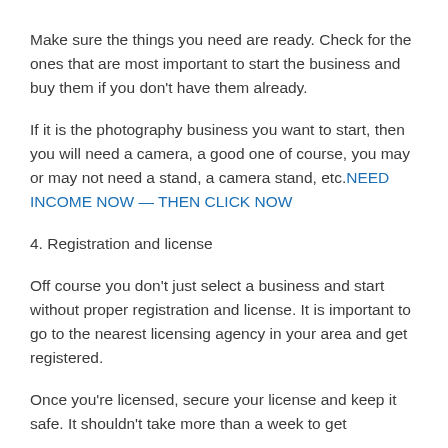Make sure the things you need are ready. Check for the ones that are most important to start the business and buy them if you don't have them already.
If it is the photography business you want to start, then you will need a camera, a good one of course, you may or may not need a stand, a camera stand, etc.NEED INCOME NOW — THEN CLICK NOW
4. Registration and license
Off course you don't just select a business and start without proper registration and license. It is important to go to the nearest licensing agency in your area and get registered.
Once you're licensed, secure your license and keep it safe. It shouldn't take more than a week to get